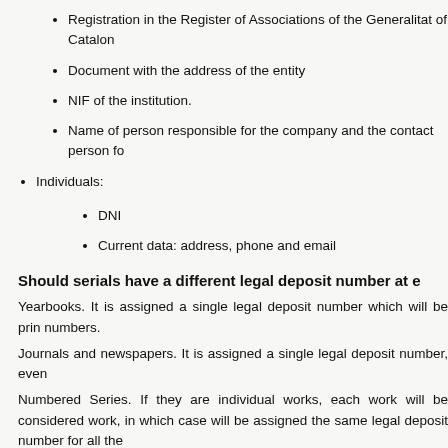Registration in the Register of Associations of the Generalitat of Catalon...
Document with the address of the entity
NIF of the institution.
Name of person responsible for the company and the contact person fo...
Individuals:
DNI
Current data: address, phone and email
Should serials have a different legal deposit number at e...
Yearbooks. It is assigned a single legal deposit number which will be prin... numbers.
Journals and newspapers. It is assigned a single legal deposit number, even...
Numbered Series. If they are individual works, each work will be considered... work, in which case will be assigned the same legal deposit number for all the...
Can requests be cancelled or extended?
If a work is not published after two months since the request of legal depos...